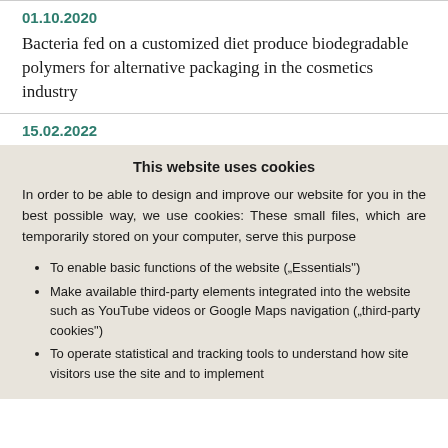01.10.2020
Bacteria fed on a customized diet produce biodegradable polymers for alternative packaging in the cosmetics industry
15.02.2022
This website uses cookies
In order to be able to design and improve our website for you in the best possible way, we use cookies: These small files, which are temporarily stored on your computer, serve this purpose
To enable basic functions of the website („Essentials“)
Make available third-party elements integrated into the website such as YouTube videos or Google Maps navigation („third-party cookies“)
To operate statistical and tracking tools to understand how site visitors use the site and to implement